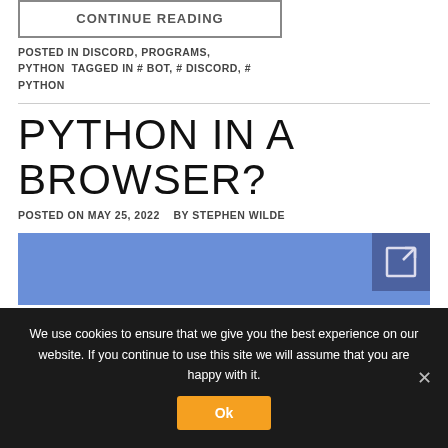CONTINUE READING
POSTED IN DISCORD, PROGRAMS, PYTHON  TAGGED IN # BOT, # DISCORD, # PYTHON
PYTHON IN A BROWSER?
POSTED ON MAY 25, 2022   BY STEPHEN WILDE
[Figure (illustration): Blue rectangle with a darker blue expand/fullscreen icon in the top-right corner]
We use cookies to ensure that we give you the best experience on our website. If you continue to use this site we will assume that you are happy with it.
Ok